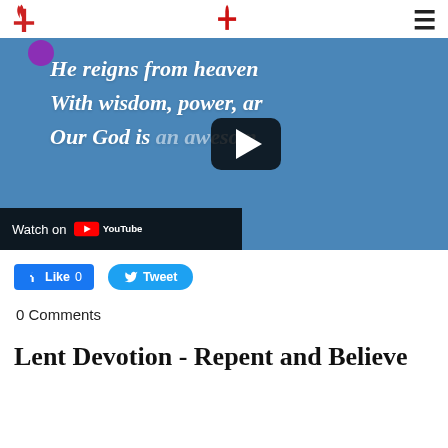United Methodist Church logo and navigation
[Figure (screenshot): YouTube video thumbnail showing text 'He reigns from heaven, With wisdom, power, ar, Our God is an awesome' on a blue background with a play button overlay and 'Watch on YouTube' bar]
Like 0   Tweet
0 Comments
Lent Devotion - Repent and Believe